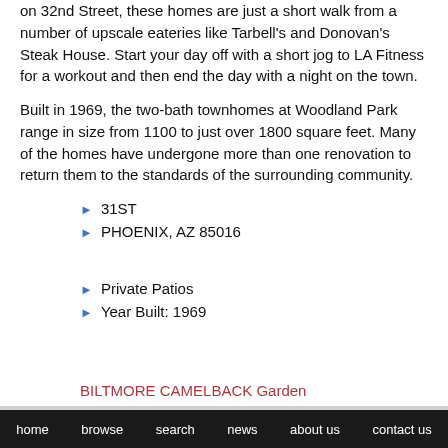on 32nd Street, these homes are just a short walk from a number of upscale eateries like Tarbell's and Donovan's Steak House. Start your day off with a short jog to LA Fitness for a workout and then end the day with a night on the town.
Built in 1969, the two-bath townhomes at Woodland Park range in size from 1100 to just over 1800 square feet. Many of the homes have undergone more than one renovation to return them to the standards of the surrounding community.
31ST
PHOENIX, AZ 85016
Private Patios
Year Built: 1969
BILTMORE CAMELBACK Garden
home  browse  search  news  about us  contact us